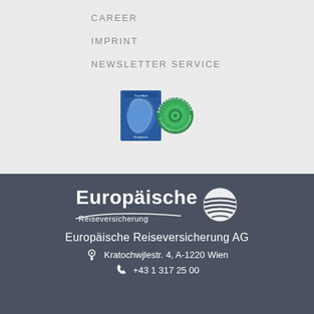CAREER
IMPRINT
NEWSLETTER SERVICE
[Figure (logo): Österreichisches E-Commerce Gütezeichen trust mark badge with European map and green spiral seal]
[Figure (logo): Europäische Reiseversicherung logo — white text with globe icon on dark background]
Europäische Reiseversicherung AG
Kratochwjlestr. 4, A-1220 Wien
+43 1 317 25 00